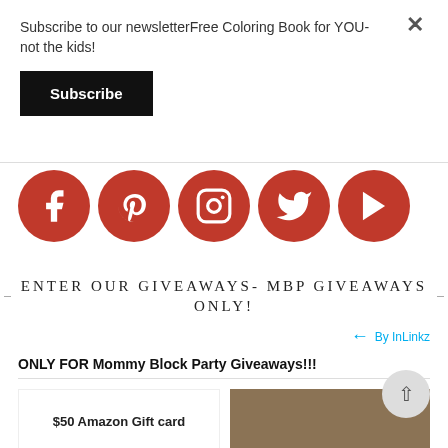Subscribe to our newsletterFree Coloring Book for YOU- not the kids!
Subscribe
[Figure (illustration): Row of five red circular social media icons: Facebook, Pinterest, Instagram, Twitter, YouTube]
ENTER OUR GIVEAWAYS- MBP GIVEAWAYS ONLY!
By InLinkz
ONLY FOR Mommy Block Party Giveaways!!!
[Figure (other): $50 Amazon Gift card text card (partially visible at bottom left)]
[Figure (photo): Partially visible image at bottom right, brown/beige tones]